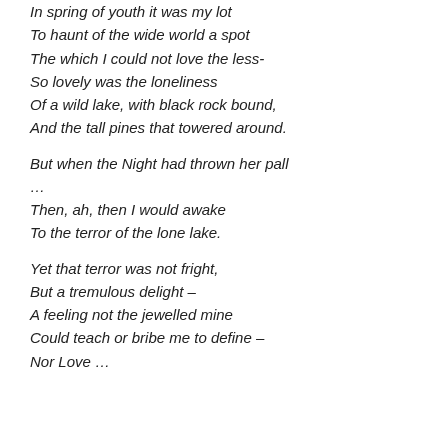In spring of youth it was my lot
To haunt of the wide world a spot
The which I could not love the less-
So lovely was the loneliness
Of a wild lake, with black rock bound,
And the tall pines that towered around.
But when the Night had thrown her pall
…
Then, ah, then I would awake
To the terror of the lone lake.
Yet that terror was not fright,
But a tremulous delight –
A feeling not the jewelled mine
Could teach or bribe me to define –
Nor Love …